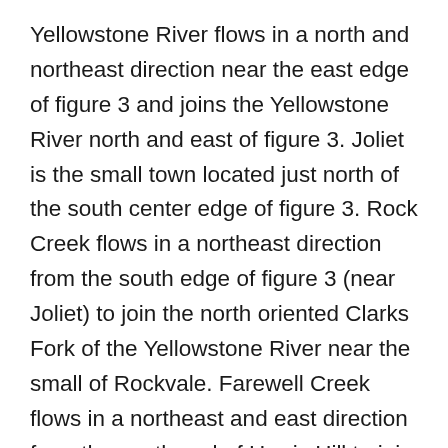Yellowstone River flows in a north and northeast direction near the east edge of figure 3 and joins the Yellowstone River north and east of figure 3. Joliet is the small town located just north of the south center edge of figure 3. Rock Creek flows in a northeast direction from the south edge of figure 3 (near Joliet) to join the north oriented Clarks Fork of the Yellowstone River near the small of Rockvale. Farewell Creek flows in a northeast and east direction from the south end of Harris Hill to join Clarks Fork near the small town of Silesia. Bellion Creek is the north oriented Yellowstone River tributary west of Harris Hill. Cole Creek flows in a north-northeast direction from the southwest quadrant of figure 3 to join the Yellowstone River near the north center edge of figure 3. Rye Grass Creek is the north-northeast oriented Yellowstone River tributary west of Cole Creek. Note how Farewell Creek